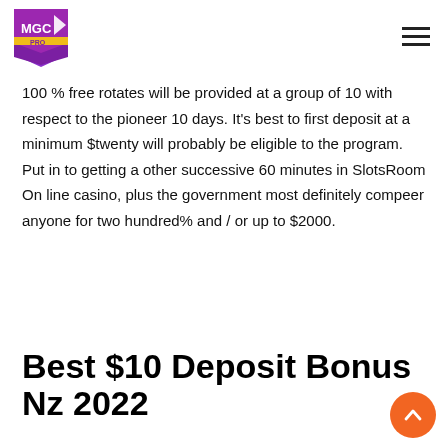MGC PRO logo and hamburger menu
100 % free rotates will be provided at a group of 10 with respect to the pioneer 10 days. It's best to first deposit at a minimum $twenty will probably be eligible to the program. Put in to getting a other successive 60 minutes in SlotsRoom On line casino, plus the government most definitely compeer anyone for two hundred% and / or up to $2000.
Best $10 Deposit Bonus Nz 2022